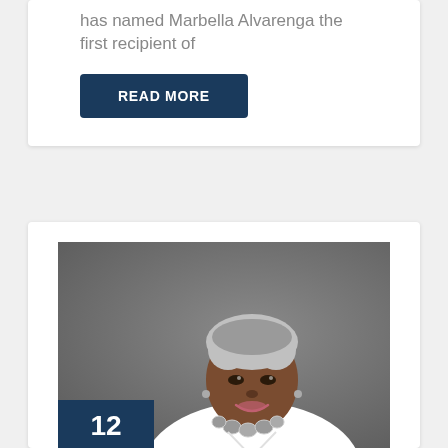has named Marbella Alvarenga the first recipient of
READ MORE
[Figure (photo): Professional headshot of a smiling woman with short grey hair wearing a white top and silver necklace, posed against a grey background.]
12